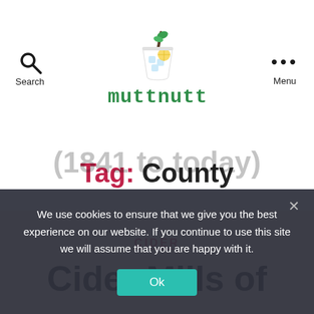Search  muttnutt  Menu
Tag: County
CIDER
Cider Mills of
(1841 to today)
We use cookies to ensure that we give you the best experience on our website. If you continue to use this site we will assume that you are happy with it.